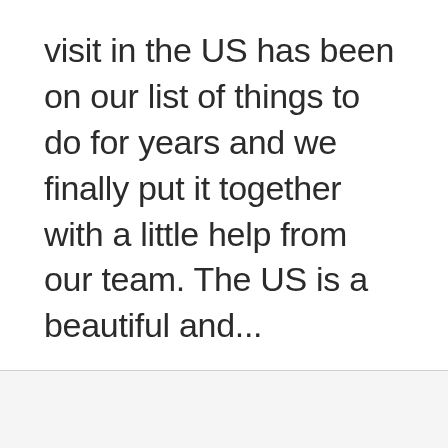visit in the US has been on our list of things to do for years and we finally put it together with a little help from our team. The US is a beautiful and...
United States